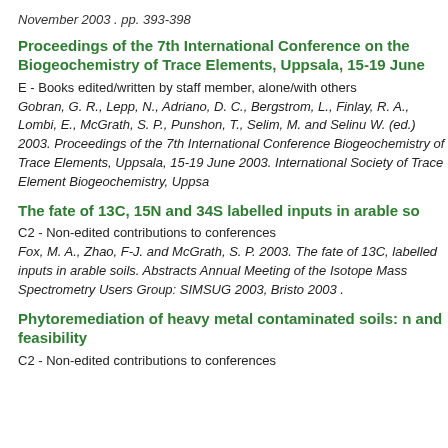November 2003 . pp. 393-398
Proceedings of the 7th International Conference on the Biogeochemistry of Trace Elements, Uppsala, 15-19 June
E - Books edited/written by staff member, alone/with others
Gobran, G. R., Lepp, N., Adriano, D. C., Bergstrom, L., Finlay, R. A., Lombi, E., McGrath, S. P., Punshon, T., Selim, M. and Selinu W. (ed.) 2003. Proceedings of the 7th International Conference Biogeochemistry of Trace Elements, Uppsala, 15-19 June 2003. International Society of Trace Element Biogeochemistry, Upps.
The fate of 13C, 15N and 34S labelled inputs in arable so
C2 - Non-edited contributions to conferences
Fox, M. A., Zhao, F-J. and McGrath, S. P. 2003. The fate of 13C, labelled inputs in arable soils. Abstracts Annual Meeting of the Isotope Mass Spectrometry Users Group: SIMSUG 2003, Bristo 2003 .
Phytoremediation of heavy metal contaminated soils: n and feasibility
C2 - Non-edited contributions to conferences